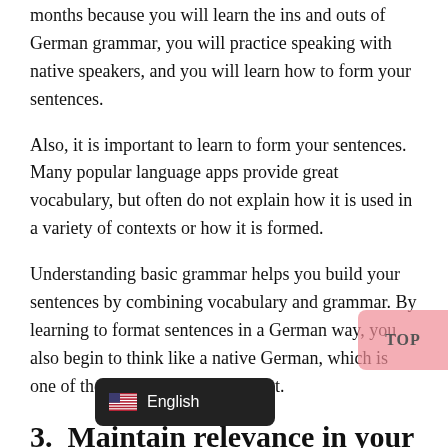months because you will learn the ins and outs of German grammar, you will practice speaking with native speakers, and you will learn how to form your sentences.
Also, it is important to learn to form your sentences. Many popular language apps provide great vocabulary, but often do not explain how it is used in a variety of contexts or how it is formed.
Understanding basic grammar helps you build your sentences by combining vocabulary and grammar. By learning to format sentences in a German way, you also begin to think like a native German, which is one of the keys to becoming fluent.
3.  Maintain relevance in your practice
A fluent German speaker doesn't necessarily have to know all the vocabulary (this is impossible due to composite words anyw… oly don't need to learn German philosophy voca… learning German for business purposes. It